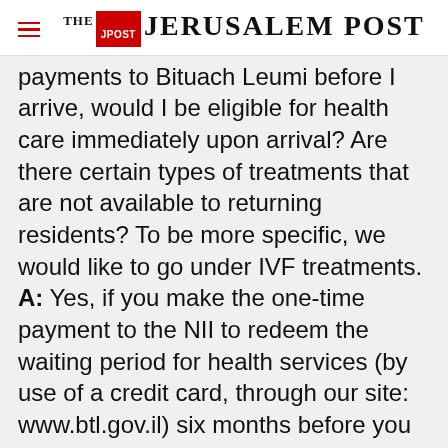THE JERUSALEM POST
payments to Bituach Leumi before I arrive, would I be eligible for health care immediately upon arrival? Are there certain types of treatments that are not available to returning residents? To be more specific, we would like to go under IVF treatments. A: Yes, if you make the one-time payment to the NII to redeem the waiting period for health services (by use of a credit card, through our site: www.btl.gov.il) six months before you arrive in Israel, than you will
Advertisement